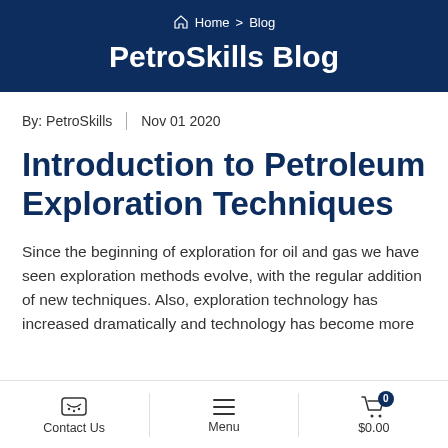Home > Blog
PetroSkills Blog
By: PetroSkills  |  Nov 01 2020
Introduction to Petroleum Exploration Techniques
Since the beginning of exploration for oil and gas we have seen exploration methods evolve, with the regular addition of new techniques. Also, exploration technology has increased dramatically and technology has become more
Contact Us  Menu  $0.00